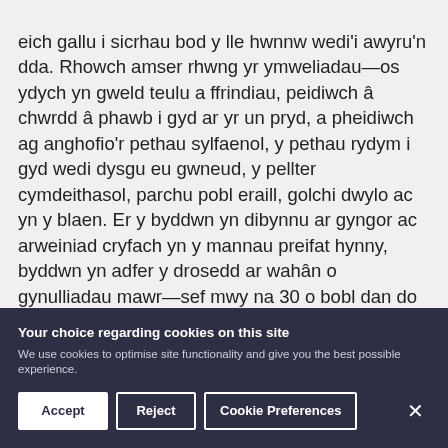eich gallu i sicrhau bod y lle hwnnw wedi'i awyru'n dda. Rhowch amser rhwng yr ymweliadau—os ydych yn gweld teulu a ffrindiau, peidiwch â chwrdd â phawb i gyd ar yr un pryd, a pheidiwch ag anghofio'r pethau sylfaenol, y pethau rydym i gyd wedi dysgu eu gwneud, y pellter cymdeithasol, parchu pobl eraill, golchi dwylo ac yn y blaen. Er y byddwn yn dibynnu ar gyngor ac arweiniad cryfach yn y mannau preifat hynny, byddwn yn adfer y drosedd ar wahân o gynulliadau mawr—sef mwy na 30 o bobl dan do neu fwy na 50 o bobl yn yr awyr agored—a bydd hynny'n berthnasol mewn cartrefi a gerddi preifat, yn ogystal ag mewn lleoliadau a reoleiddir.
Your choice regarding cookies on this site
We use cookies to optimise site functionality and give you the best possible experience.